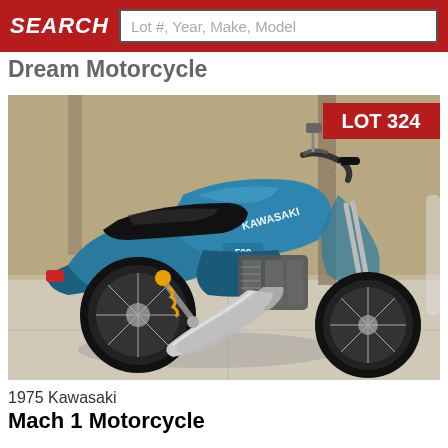SEARCH  Lot #, Year, Make, Model
Dream Motorcycle
[Figure (photo): 1975 Kawasaki Mach 1 Motorcycle, blue, shown from rear-left angle, chrome exhaust pipes, black seat, parked on concrete. LOT 324 badge in top right corner.]
1975 Kawasaki
Mach 1 Motorcycle